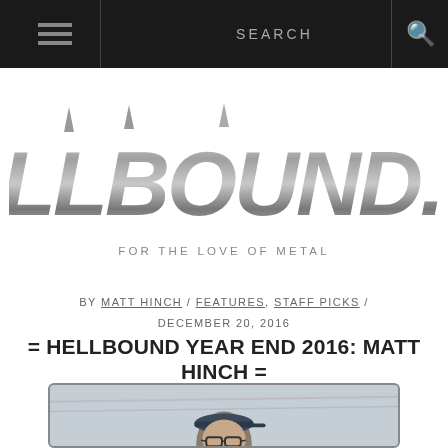SEARCH
[Figure (logo): HELLBOUND.CA logo with metallic gothic lettering and tagline FOR THE LOVE OF METAL]
BY MATT HINCH / FEATURES, STAFF PICKS / DECEMBER 20, 2016
= HELLBOUND YEAR END 2016: MATT HINCH =
[Figure (photo): Photo of Matt Hinch wearing glasses and a cap]